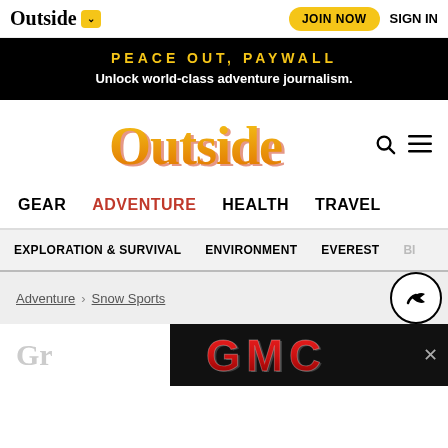Outside [JOIN NOW] SIGN IN
PEACE OUT, PAYWALL
Unlock world-class adventure journalism.
[Figure (logo): Outside magazine large logo in orange/gold gradient serif font]
GEAR  ADVENTURE  HEALTH  TRAVEL
EXPLORATION & SURVIVAL  ENVIRONMENT  EVEREST  BI...
Adventure > Snow Sports
[Figure (logo): GMC logo advertisement banner in red metallic text on black background]